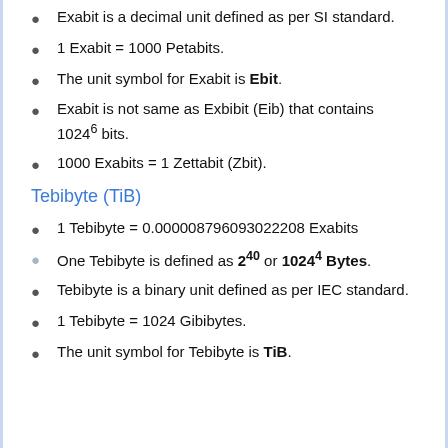Exabit is a decimal unit defined as per SI standard.
1 Exabit = 1000 Petabits.
The unit symbol for Exabit is Ebit.
Exabit is not same as Exbibit (Eib) that contains 1024^6 bits.
1000 Exabits = 1 Zettabit (Zbit).
Tebibyte (TiB)
1 Tebibyte = 0.000008796093022208 Exabits
One Tebibyte is defined as 2^40 or 1024^4 Bytes.
Tebibyte is a binary unit defined as per IEC standard.
1 Tebibyte = 1024 Gibibytes.
The unit symbol for Tebibyte is TiB.